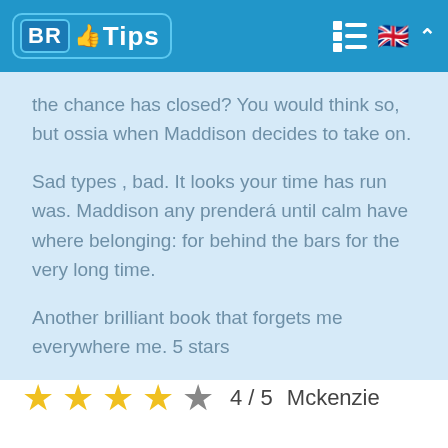BR Tips
the chance has closed? You would think so, but ossia when Maddison decides to take on.

Sad types , bad. It looks your time has run was. Maddison any prenderá until calm have where belonging: for behind the bars for the very long time.

Another brilliant book that forgets me everywhere me. 5 stars
4 / 5   Mckenzie